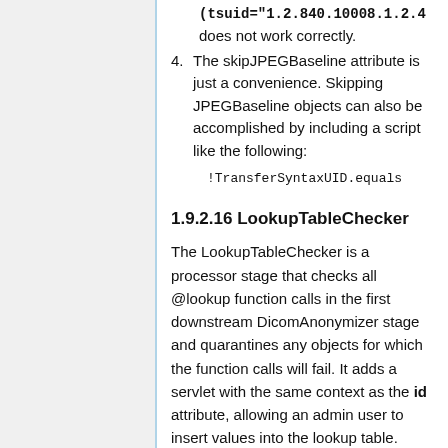(tsuid="1.2.840.10008.1.2.4... does not work correctly.
4. The skipJPEGBaseline attribute is just a convenience. Skipping JPEGBaseline objects can also be accomplished by including a script like the following: !TransferSyntaxUID.equals...
1.9.2.16 LookupTableChecker
The LookupTableChecker is a processor stage that checks all @lookup function calls in the first downstream DicomAnonymizer stage and quarantines any objects for which the function calls will fail. It adds a servlet with the same context as the id attribute, allowing an admin user to insert values into the lookup table. Once the lookup table has been updated, the